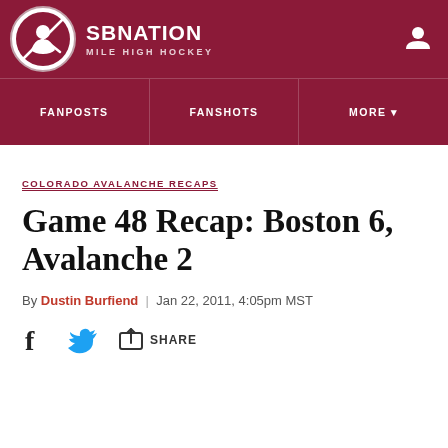SB NATION — MILE HIGH HOCKEY
COLORADO AVALANCHE RECAPS
Game 48 Recap: Boston 6, Avalanche 2
By Dustin Burfiend | Jan 22, 2011, 4:05pm MST